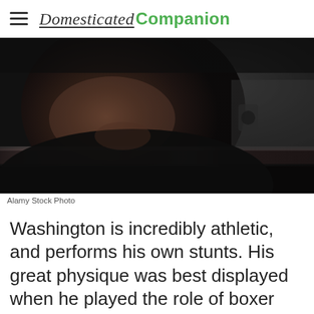Domesticated Companion
[Figure (photo): Close-up photo of a man's face looking serious, viewed through or near a car window, dark cinematic lighting]
Alamy Stock Photo
Washington is incredibly athletic, and performs his own stunts. His great physique was best displayed when he played the role of boxer Rubin "Hurricane" Carter in The Hurric...